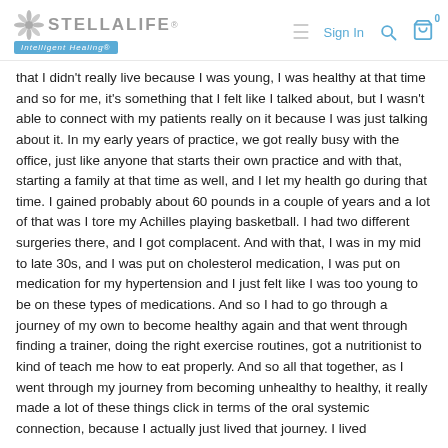STELLALIFE Intelligent Healing® — Sign In
that I didn't really live because I was young, I was healthy at that time and so for me, it's something that I felt like I talked about, but I wasn't able to connect with my patients really on it because I was just talking about it. In my early years of practice, we got really busy with the office, just like anyone that starts their own practice and with that, starting a family at that time as well, and I let my health go during that time. I gained probably about 60 pounds in a couple of years and a lot of that was I tore my Achilles playing basketball. I had two different surgeries there, and I got complacent. And with that, I was in my mid to late 30s, and I was put on cholesterol medication, I was put on medication for my hypertension and I just felt like I was too young to be on these types of medications. And so I had to go through a journey of my own to become healthy again and that went through finding a trainer, doing the right exercise routines, got a nutritionist to kind of teach me how to eat properly. And so all that together, as I went through my journey from becoming unhealthy to healthy, it really made a lot of these things click in terms of the oral systemic connection, because I actually just lived that journey. I lived